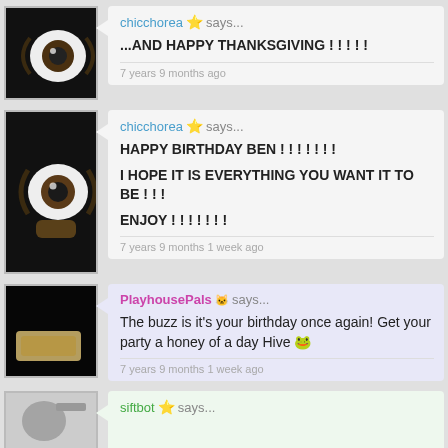chicchorea ⭐ says...
...AND HAPPY THANKSGIVING ! ! ! ! !
7 years 9 months ago
chicchorea ⭐ says...
HAPPY BIRTHDAY BEN ! ! ! ! ! ! !
I HOPE IT IS EVERYTHING YOU WANT IT TO BE ! ! !
ENJOY ! ! ! ! ! ! !
7 years 9 months 1 week ago
PlayhousePals 🐱 says...
The buzz is it's your birthday once again! Get your party a honey of a day Hive 🐸
7 years 9 months 1 week ago
siftbot ⭐ says...